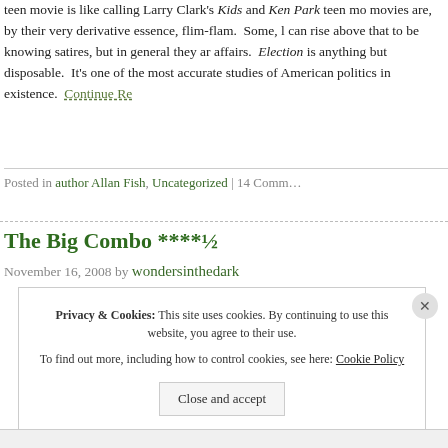teen movie is like calling Larry Clark's Kids and Ken Park teen movies are, by their very derivative essence, flim-flam. Some, can rise above that to be knowing satires, but in general they are affairs. Election is anything but disposable. It's one of the most accurate studies of American politics in existence. Continue Re...
Posted in author Allan Fish, Uncategorized | 14 Comm...
The Big Combo ****½
November 16, 2008 by wondersinthedark
Privacy & Cookies: This site uses cookies. By continuing to use this website, you agree to their use. To find out more, including how to control cookies, see here: Cookie Policy